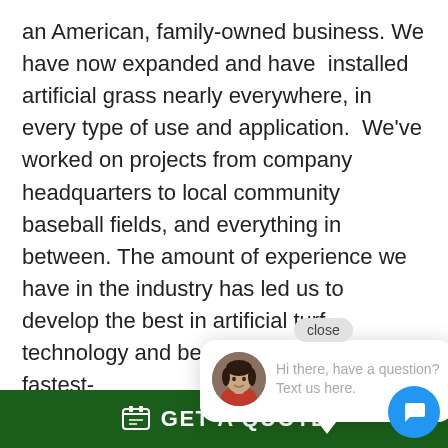an American, family-owned business. We have now expanded and have  installed artificial grass nearly everywhere, in every type of use and application.  We've worked on projects from company headquarters to local community baseball fields, and everything in between. The amount of experience we have in the industry has led us to develop the best in artificial turf technology and become one of the fastest-growing synt
Our artificial [obscured by chat widget] long lasting. [obscured] superior product, we will save you money in the long run. Not only do our products need les
[Figure (screenshot): Chat widget overlay with avatar photo of a woman and text: 'Hi there, have a question? Text us here.' with a close button.]
GET A QUOTE